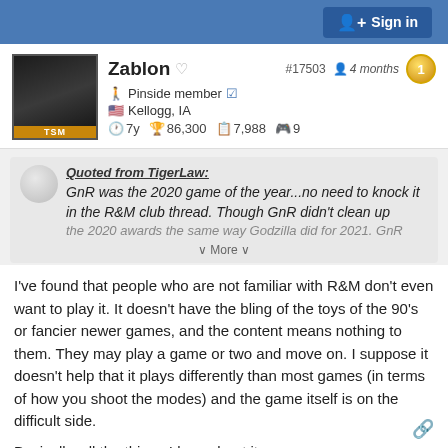Sign in
Zablon  #17503  4 months  1
Pinside member
Kellogg, IA
7y  86,300  7,988  9
Quoted from TigerLaw:
GnR was the 2020 game of the year...no need to knock it in the R&M club thread. Though GnR didn't clean up the 2020 awards the same way Godzilla did for 2021. GnR
⌄ More ⌄
I've found that people who are not familiar with R&M don't even want to play it. It doesn't have the bling of the toys of the 90's or fancier newer games, and the content means nothing to them. They may play a game or two and move on. I suppose it doesn't help that it plays differently than most games (in terms of how you shoot the modes) and the game itself is on the difficult side.
Basically..all the things I love about it.